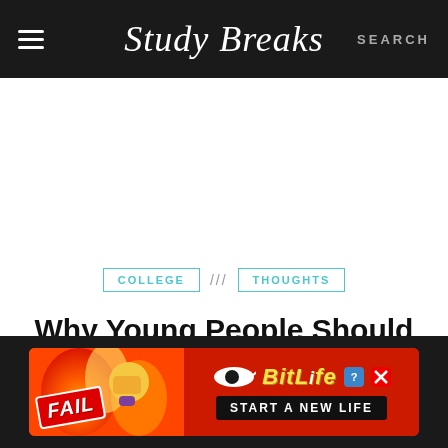StudyBreaks — SEARCH
COLLEGE /// THOUGHTS
Why Young People Should Be Investing in Weed Stocks
MUST READ
[Figure (screenshot): BitLife advertisement banner: FAIL emoji graphic with fire background on left, BitLife logo and START A NEW LIFE CTA on right with dark red background]